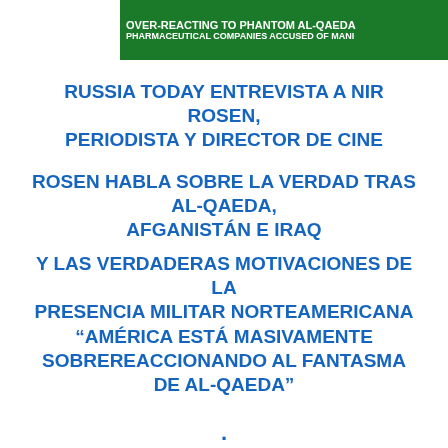[Figure (screenshot): Green banner with white bold text: 'OVER-REACTING TO PHANTOM AL-QAEDA' and below 'PHARMACEUTICAL COMPANIES ACCUSED OF MANI']
RUSSIA TODAY ENTREVISTA A NIR ROSEN, PERIODISTA Y DIRECTOR DE CINE
ROSEN HABLA SOBRE LA VERDAD TRAS AL-QAEDA, AFGANISTÁN E IRAQ
Y LAS VERDADERAS MOTIVACIONES DE LA PRESENCIA MILITAR NORTEAMERICANA
“AMÉRICA ESTÁ MASIVAMENTE SOBREREACCIONANDO AL FANTASMA DE AL-QAEDA”
.
.